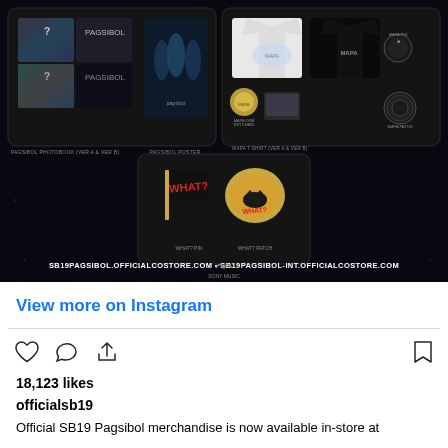[Figure (screenshot): Instagram post showing SB19 Pagsibol merchandise including photobooks, posters, MAPA t-shirts, pins, patches, and WHAT? themed items against a dark starry background. URLs: SB19PAGSIBOL.OFFICIALCOSTORE.COM and SB19PAGSIBOL-INT.OFFICIALCOSTORE.COM]
View more on Instagram
18,123 likes
officialsb19
Official SB19 Pagsibol merchandise is now available in-store at